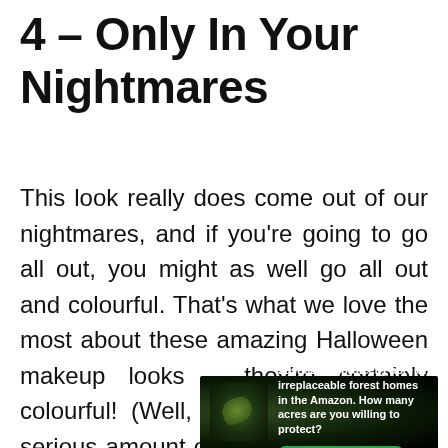4 – Only In Your Nightmares
This look really does come out of our nightmares, and if you're going to go all out, you might as well go all out and colourful. That's what we love the most about these amazing Halloween makeup looks – they're certainly colourful! (Well, most of them ...) A serious amount of work has gone into this detailed Halloween makeup
[Figure (infographic): Advertisement banner with dark forest/Amazon background image on the left, bold white text reading 'Just $2 can protect 1 acre of irreplaceable forest homes in the Amazon. How many acres are you willing to protect?' and a green 'PROTECT FORESTS NOW' button.]